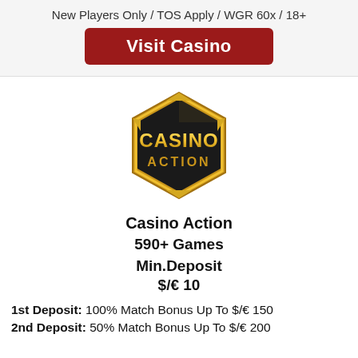New Players Only / TOS Apply / WGR 60x / 18+
Visit Casino
[Figure (logo): Casino Action hexagonal gold logo with 'CASINO ACTION' text]
Casino Action
590+ Games
Min.Deposit
$/€ 10
1st Deposit: 100% Match Bonus Up To $/€ 150
2nd Deposit: 50% Match Bonus Up To $/€ 200